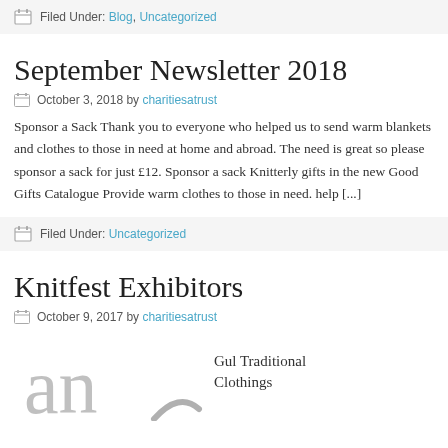Filed Under: Blog, Uncategorized
September Newsletter 2018
October 3, 2018 by charitiesatrust
Sponsor a Sack Thank you to everyone who helped us to send warm blankets and clothes to those in need at home and abroad. The need is great so please sponsor a sack for just £12. Sponsor a sack Knitterly gifts in the new Good Gifts Catalogue Provide warm clothes to those in need. help [...]
Filed Under: Uncategorized
Knitfest Exhibitors
October 9, 2017 by charitiesatrust
[Figure (illustration): Partial logo image showing letters 'an' in large grey serif font with a partial decorative swoosh element]
Gul Traditional Clothings